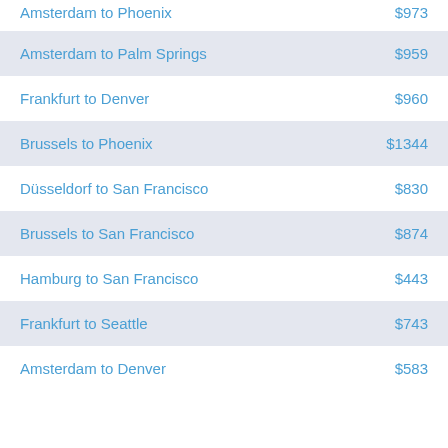| Route | Price |
| --- | --- |
| Amsterdam to Phoenix | $973 |
| Amsterdam to Palm Springs | $959 |
| Frankfurt to Denver | $960 |
| Brussels to Phoenix | $1344 |
| Düsseldorf to San Francisco | $830 |
| Brussels to San Francisco | $874 |
| Hamburg to San Francisco | $443 |
| Frankfurt to Seattle | $743 |
| Amsterdam to Denver | $583 |